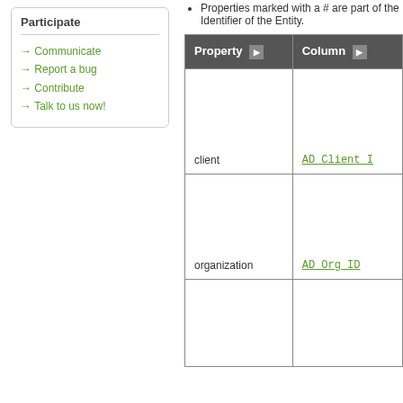Participate
Communicate
Report a bug
Contribute
Talk to us now!
Properties marked with a # are part of the Identifier of the Entity.
| Property | Column |
| --- | --- |
| client | AD_Client_ID |
| organization | AD_Org_ID |
|  |  |